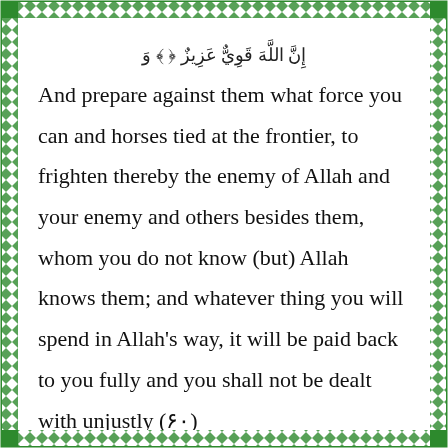Arabic header text (partial verse, top of page)
And prepare against them what force you can and horses tied at the frontier, to frighten thereby the enemy of Allah and your enemy and others besides them, whom you do not know (but) Allah knows them; and whatever thing you will spend in Allah's way, it will be paid back to you fully and you shall not be dealt with unjustly (۶۰)
وَإِن جَنَحُوا لِلسَّلْمِ فَاجْنَحْ لَهَا وَتَوَكَّلْ عَلَى اللَّهِ إِنَّهُ هُوَ السَّمِيعُ الْعَلِيمُ ﴿٦١﴾